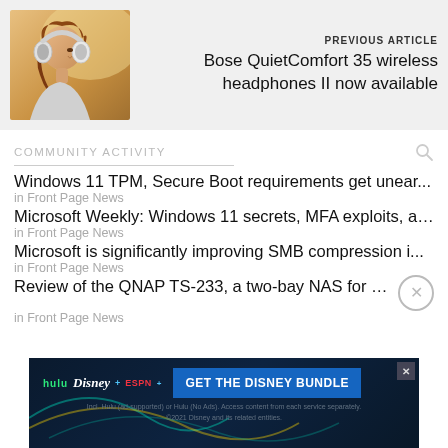[Figure (photo): Woman wearing Bose QuietComfort 35 wireless headphones, side profile, warm lighting]
PREVIOUS ARTICLE
Bose QuietComfort 35 wireless headphones II now available
COMMUNITY ACTIVITY
Windows 11 TPM, Secure Boot requirements get unear...
in Front Page News
Microsoft Weekly: Windows 11 secrets, MFA exploits, an...
in Front Page News
Microsoft is significantly improving SMB compression i...
in Front Page News
Review of the QNAP TS-233, a two-bay NAS for modest...
in Front Page News
[Figure (screenshot): Disney Bundle advertisement banner: hulu, Disney+, ESPN+ logos with 'GET THE DISNEY BUNDLE' call to action button. Fine print: Incl. Hulu (ad-supported) or Hulu (No Ads). Access content from each service separately. ©2021 Disney and its related entities.]